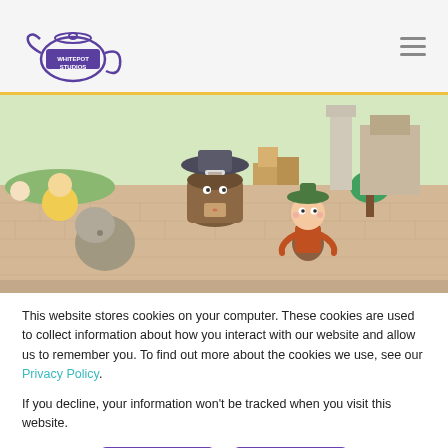Whitepot Studios logo and navigation menu
[Figure (illustration): Isometric game scene showing cartoon characters in a town setting with a postal box character, a girl in a hat, a stone character, and buildings on a brick-paved street.]
This website stores cookies on your computer. These cookies are used to collect information about how you interact with our website and allow us to remember you. To find out more about the cookies we use, see our Privacy Policy.
If you decline, your information won't be tracked when you visit this website.
Accept
Decline